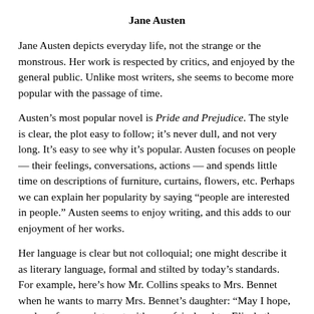Jane Austen
Jane Austen depicts everyday life, not the strange or the monstrous. Her work is respected by critics, and enjoyed by the general public. Unlike most writers, she seems to become more popular with the passage of time.
Austen’s most popular novel is Pride and Prejudice. The style is clear, the plot easy to follow; it’s never dull, and not very long. It’s easy to see why it’s popular. Austen focuses on people — their feelings, conversations, actions — and spends little time on descriptions of furniture, curtains, flowers, etc. Perhaps we can explain her popularity by saying “people are interested in people.” Austen seems to enjoy writing, and this adds to our enjoyment of her works.
Her language is clear but not colloquial; one might describe it as literary language, formal and stilted by today’s standards. For example, here’s how Mr. Collins speaks to Mrs. Bennet when he wants to marry Mrs. Bennet’s daughter: “May I hope, madam, for your interest with your fair daughter Elizabeth, when I solicit for the honor of a private audience with her in the course of this morning?”
The first novel Austen published was Sense and Sensibility, which